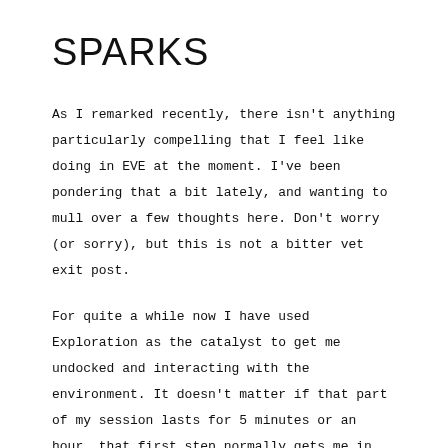SPARKS
As I remarked recently, there isn't anything particularly compelling that I feel like doing in EVE at the moment. I've been pondering that a bit lately, and wanting to mull over a few thoughts here. Don't worry (or sorry), but this is not a bitter vet exit post.
For quite a while now I have used Exploration as the catalyst to get me undocked and interacting with the environment. It doesn't matter if that part of my session lasts for 5 minutes or an hour, that first step normally gets me in the zone to make the most of my EVE time.